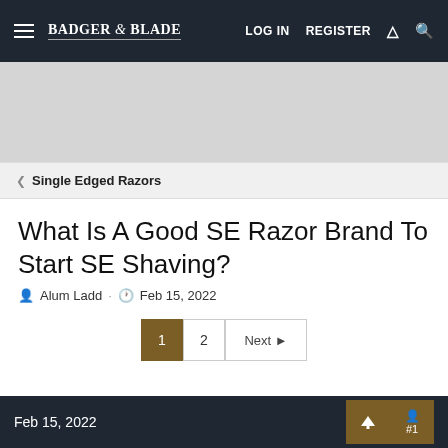BADGER & BLADE | LOG IN  REGISTER
[Figure (other): Gray advertisement banner placeholder]
< Single Edged Razors
What Is A Good SE Razor Brand To Start SE Shaving?
Alum Ladd · Feb 15, 2022
1  2  Next
Feb 15, 2022  #1